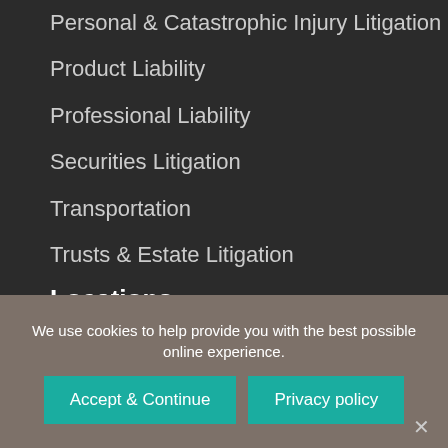Personal & Catastrophic Injury Litigation
Product Liability
Professional Liability
Securities Litigation
Transportation
Trusts & Estate Litigation
Locations
We use cookies to help provide you with the best possible online experience.
Accept & Continue
Privacy policy